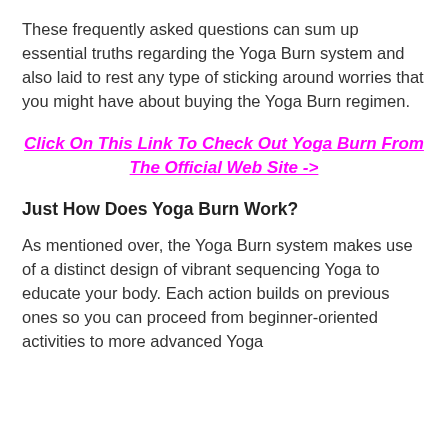These frequently asked questions can sum up essential truths regarding the Yoga Burn system and also laid to rest any type of sticking around worries that you might have about buying the Yoga Burn regimen.
Click On This Link To Check Out Yoga Burn From The Official Web Site ->
Just How Does Yoga Burn Work?
As mentioned over, the Yoga Burn system makes use of a distinct design of vibrant sequencing Yoga to educate your body. Each action builds on previous ones so you can proceed from beginner-oriented activities to more advanced Yoga